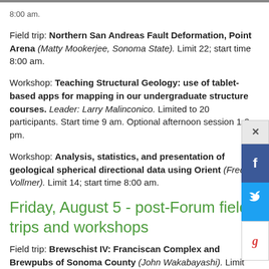Field trip: Northern San Andreas Fault Deformation, Point Arena (Matty Mookerjee, Sonoma State). Limit 22; start time 8:00 am.
Workshop: Teaching Structural Geology: use of tablet-based apps for mapping in our undergraduate structure courses. Leader: Larry Malinconico. Limited to 20 participants. Start time 9 am. Optional afternoon session 1-3 pm.
Workshop: Analysis, statistics, and presentation of geological spherical directional data using Orient (Fred Vollmer). Limit 14; start time 8:00 am.
Friday, August 5 - post-Forum field trips and workshops
Field trip: Brewschist IV: Franciscan Complex and Brewpubs of Sonoma County (John Wakabayashi). Limit 22; start time 8:00 am.
Field trip: NEW TRIP! Active Tectonics of the North...